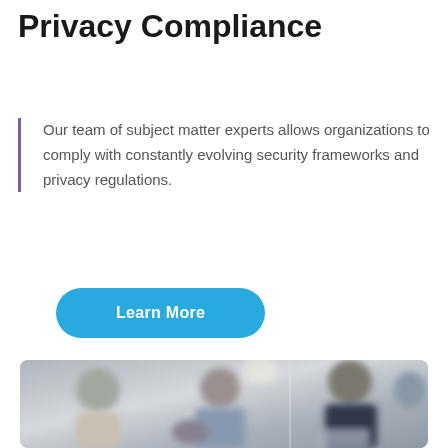Privacy Compliance
Our team of subject matter experts allows organizations to comply with constantly evolving security frameworks and privacy regulations.
Learn More
[Figure (photo): Blurred office scene with several people in a professional setting, viewed through glass]